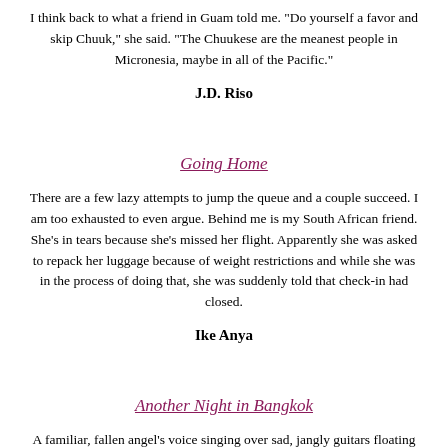I think back to what a friend in Guam told me. "Do yourself a favor and skip Chuuk," she said. "The Chuukese are the meanest people in Micronesia, maybe in all of the Pacific."
J.D. Riso
Going Home
There are a few lazy attempts to jump the queue and a couple succeed. I am too exhausted to even argue. Behind me is my South African friend. She's in tears because she's missed her flight. Apparently she was asked to repack her luggage because of weight restrictions and while she was in the process of doing that, she was suddenly told that check-in had closed.
Ike Anya
Another Night in Bangkok
A familiar, fallen angel's voice singing over sad, jangly guitars floating out of the speakers as we enter Woodstock, the only non-sex bar in Soi 4, commonly known as Soi Nana. Low and dreamy,